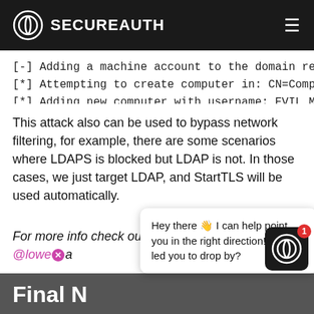SECUREAUTH
[-] Adding a machine account to the domain rec
[*] Attempting to create computer in: CN=Comp
[*] Adding new computer with username: EVIL_M
This attack also can be used to bypass network filtering, for example, there are some scenarios where LDAPS is blocked but LDAP is not. In those cases, we just target LDAP, and StartTLS will be used automatically.
For more info check out this blog post by @lowe[x]a
Hey there 👋 I can help point you in the right direction! What led you to drop by?
Final N